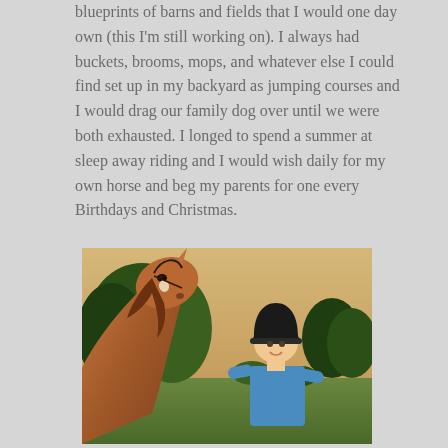blueprints of barns and fields that I would one day own (this I'm still working on). I always had buckets, brooms, mops, and whatever else I could find set up in my backyard as jumping courses and I would drag our family dog over until we were both exhausted. I longed to spend a summer at sleep away riding and I would wish daily for my own horse and beg my parents for one every Birthdays and Christmas.
[Figure (photo): A young blonde child wearing a black riding helmet and blue shirt stands next to a chestnut horse outdoors in a field with green trees and a warm sky in the background.]